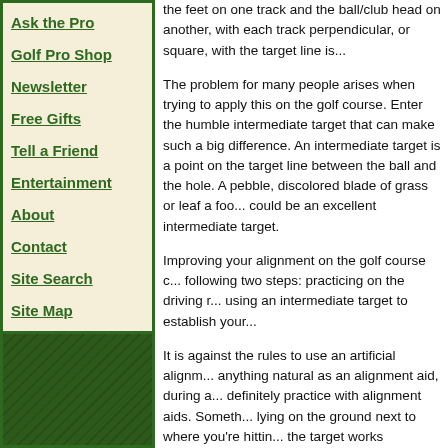Ask the Pro
Golf Pro Shop
Newsletter
Free Gifts
Tell a Friend
Entertainment
About
Contact
Site Search
Site Map
the feet on one track and the ball/club head on another, with each track perpendicular, or square, with the target line is...
The problem for many people arises when trying to apply this on the golf course. Enter the humble intermediate target that can make such a big difference. An intermediate target is a point on the target line between the ball and the hole. A pebble, discolored blade of grass or leaf a foot or two away could be an excellent intermediate target.
Improving your alignment on the golf course can be done by following two steps: practicing on the driving range and using an intermediate target to establish your...
It is against the rules to use an artificial alignment aid, but anything natural as an alignment aid, during a round. You can definitely practice with alignment aids. Something as simple as lying on the ground next to where you're hitting and pointing at the target works wonderfully. Even driving range stripe lines can be enough. The whole point of this is to get used to being in a square position. Practicing with an alignment aid trains your system to see and feel square.
The purpose of an intermediate target is to visualize (and feel a line). Once you have a line you can then see (as mentioned above) a relationship of either parallel or square. Although it is against the rules to place or move any alignment aid there are countless objects occurring naturally in front of your ball that can be used as intermediate...